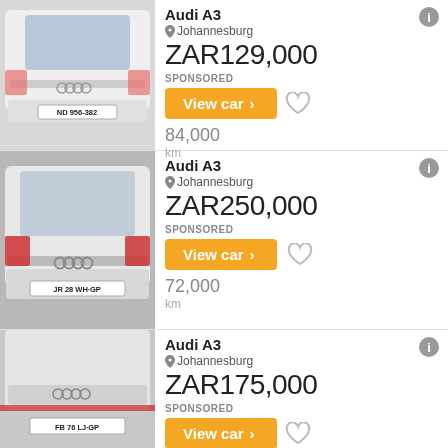[Figure (photo): White Audi A3 rear view with license plate ND 956-382, Johannesburg listing, ZAR 129,000, SPONSORED, View car button, 84,000 km]
[Figure (photo): White Audi A3 rear view with license plate JR 28 WH GP, Johannesburg listing, ZAR 250,000, SPONSORED, View car button, 72,000 km]
[Figure (photo): White Audi A3 rear view with license plate FB 76 LJ GP, Johannesburg listing, ZAR 175,000, SPONSORED, View car button (partial)]